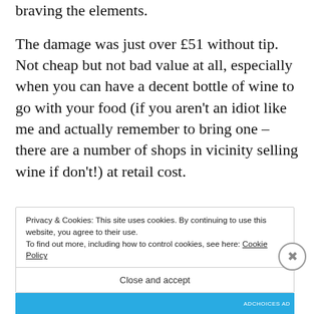braving the elements.
The damage was just over £51 without tip. Not cheap but not bad value at all, especially when you can have a decent bottle of wine to go with your food (if you aren't an idiot like me and actually remember to bring one – there are a number of shops in vicinity selling wine if don't!) at retail cost.
Privacy & Cookies: This site uses cookies. By continuing to use this website, you agree to their use.
To find out more, including how to control cookies, see here: Cookie Policy
Close and accept